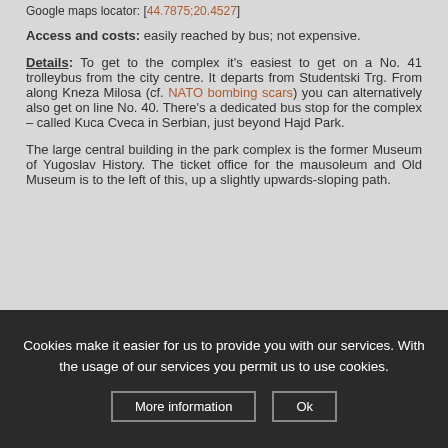Google maps locator: [44.7875;20.4527]
Access and costs: easily reached by bus; not expensive.
Details: To get to the complex it's easiest to get on a No. 41 trolleybus from the city centre. It departs from Studentski Trg. From along Kneza Milosa (cf. NATO bombing scars) you can alternatively also get on line No. 40. There's a dedicated bus stop for the complex – called Kuca Cveca in Serbian, just beyond Hajd Park.
The large central building in the park complex is the former Museum of Yugoslav History. The ticket office for the mausoleum and Old Museum is to the left of this, up a slightly upwards-sloping path.
Cookies make it easier for us to provide you with our services. With the usage of our services you permit us to use cookies.